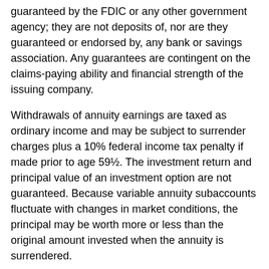guaranteed by the FDIC or any other government agency; they are not deposits of, nor are they guaranteed or endorsed by, any bank or savings association. Any guarantees are contingent on the claims-paying ability and financial strength of the issuing company.
Withdrawals of annuity earnings are taxed as ordinary income and may be subject to surrender charges plus a 10% federal income tax penalty if made prior to age 59½. The investment return and principal value of an investment option are not guaranteed. Because variable annuity subaccounts fluctuate with changes in market conditions, the principal may be worth more or less than the original amount invested when the annuity is surrendered.
The cash value of a variable universal life insurance policy is not guaranteed. The investment return and principal value of the variable subaccounts will fluctuate. Your cash value, and perhaps the death benefit, will be determined by the performance of the chosen subaccounts. Withdrawals may be subject to surrender charges and are taxable if you withdraw